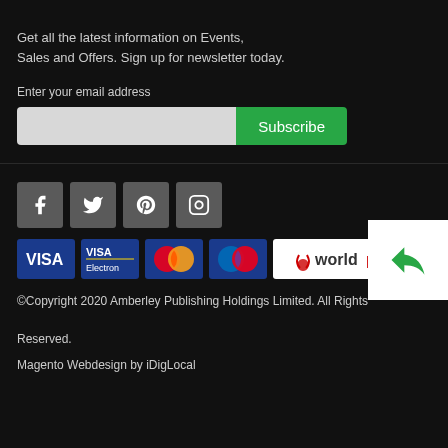Get all the latest information on Events, Sales and Offers. Sign up for newsletter today.
Enter your email address
[Figure (screenshot): Email input field with Subscribe button (green)]
[Figure (infographic): Social media icons: Facebook, Twitter, Pinterest, Instagram]
[Figure (infographic): Payment method logos: VISA, VISA Electron, Mastercard, Maestro, Worldpay]
©Copyright 2020 Amberley Publishing Holdings Limited. All Rights Reserved.
Magento Webdesign by iDigLocal